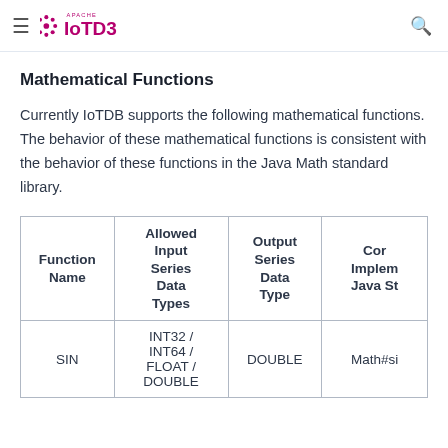Apache IoTDB
Mathematical Functions
Currently IoTDB supports the following mathematical functions. The behavior of these mathematical functions is consistent with the behavior of these functions in the Java Math standard library.
| Function Name | Allowed Input Series Data Types | Output Series Data Type | Cor Implem Java St |
| --- | --- | --- | --- |
| SIN | INT32 / INT64 / FLOAT / DOUBLE | DOUBLE | Math#si |